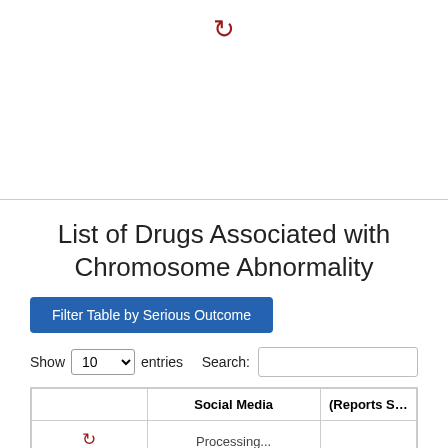[Figure (other): Red refresh/sync icon at top center of page]
List of Drugs Associated with Chromosome Abnormality
Filter Table by Serious Outcome
Show 10 entries  Search:
|  | Social Media | (Reports S... |
| --- | --- | --- |
|  | Processing... |  |